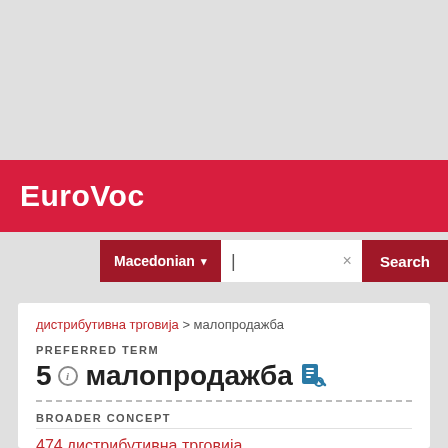EuroVoc
Macedonian ▾  ×  Search
дистрибутивна трговија > малопродажба
PREFERRED TERM
5  малопродажба
BROADER CONCEPT
474 дистрибутивна трговија